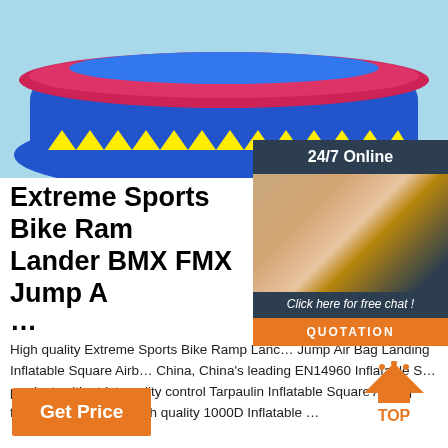[Figure (photo): Inflatable extreme sports bike ramp airbag in blue, pink, and yellow colors]
[Figure (photo): 24/7 Online chat agent - woman with headset smiling, with quotation button overlay]
Extreme Sports Bike Ramp Lander BMX FMX Jump A…
…
High quality Extreme Sports Bike Ramp Lander BMX FMX Jump Air Bag Landing Inflatable Square Airb… China, China's leading EN14960 Inflatable S… product, with strict quality control Tarpaulin Inflatable Square Airbag factories, producing high quality 1000D Inflatable …
[Figure (illustration): TOP button with orange triangle/arrow icon pointing up and text TOP]
Get Price